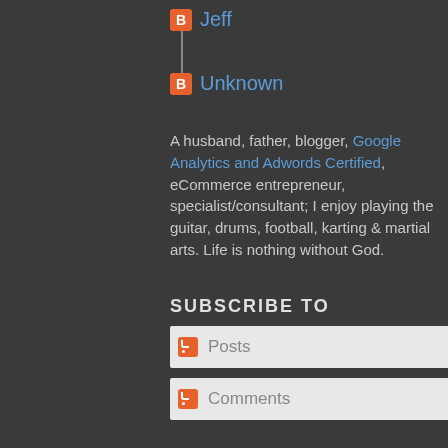Jeff
Unknown
A husband, father, blogger, Google Analytics and Adwords Certified, eCommerce entrepreneur, specialist/consultant; I enjoy playing the guitar, drums, football, karting & martial arts. Life is nothing without God.
SUBSCRIBE TO
Posts
Comments
BLOG ARCHIVE
2022 (1)
2021 (3)
2020 (25)
2019 (17)
2018 (13)